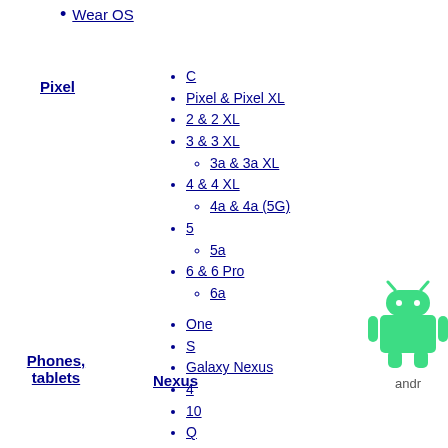Wear OS
Pixel
C
Pixel & Pixel XL
2 & 2 XL
3 & 3 XL
3a & 3a XL
4 & 4 XL
4a & 4a (5G)
5
5a
6 & 6 Pro
6a
Phones, tablets
Nexus
One
S
Galaxy Nexus
4
10
Q
5
5X
6
6P
7
[Figure (logo): Android robot logo in green with 'andr' text below]